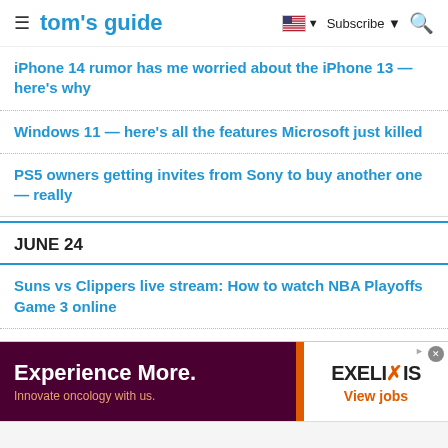tom's guide — Subscribe
iPhone 14 rumor has me worried about the iPhone 13 — here's why
Windows 11 — here's all the features Microsoft just killed
PS5 owners getting invites from Sony to buy another one — really
JUNE 24
Suns vs Clippers live stream: How to watch NBA Playoffs Game 3 online
New AirPods Max deal beats Prime Day price
Windows 11 availability: When it's coming and how
[Figure (infographic): Advertisement banner for Exelixis: 'Experience More. Innovate oncology with us.' with Exelixis logo and 'View jobs' link on right side.]